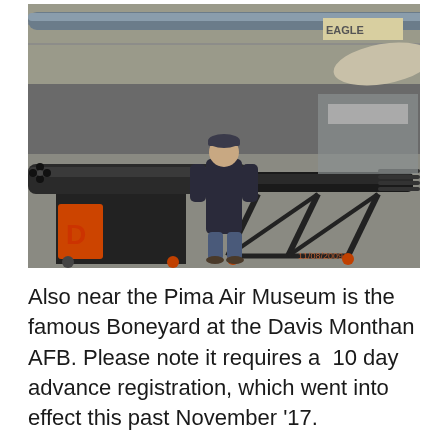[Figure (photo): Interior of a hangar or air museum. A person stands in the center of the frame between two large military weapon systems (Gatling-style rotary cannons) mounted on wheeled black metal stands. The left cannon has an orange and black stand. The background shows aircraft and museum exhibits. A date stamp in orange is visible in the lower right of the photo.]
Also near the Pima Air Museum is the famous Boneyard at the Davis Monthan AFB. Please note it requires a  10 day advance registration, which went into effect this past November '17.